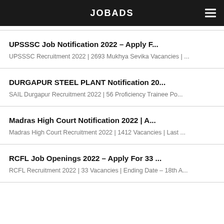JOBADS
UPSSSC Job Notification 2022 – Apply F...
UPSSSC Recruitment 2022 | 2693 Mukhya Sevika Vacancies | ...
DURGAPUR STEEL PLANT Notification 20...
SAIL Durgapur Recruitment 2022 | 56 Proficiency Trainee Po...
Madras High Court Notification 2022 | A...
Madras High Court Recruitment 2022 | 1412 Vacancies | Last ...
RCFL Job Openings 2022 – Apply For 33 ...
RCFL Recruitment 2022 | 33 Vacancies | Ending Date – 18th A...